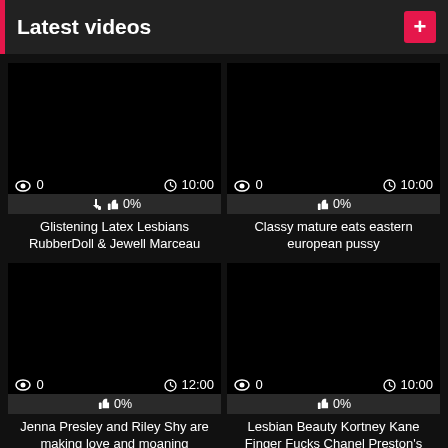Latest videos
[Figure (screenshot): Video thumbnail 1 - black/dark]
👁 0   🕐10:00   👍 0%   Glistening Latex Lesbians RubberDoll & Jewell Marceau
[Figure (screenshot): Video thumbnail 2 - black/dark]
👁 0   🕐10:00   👍 0%   Classy mature eats eastern european pussy
[Figure (screenshot): Video thumbnail 3 - black/dark]
👁 0   🕐12:00   👍 0%   Jenna Presley and Riley Shy are making love and moaning
[Figure (screenshot): Video thumbnail 4 - black/dark]
👁 0   🕐10:00   👍 0%   Lesbian Beauty Kortney Kane Finger Fucks Chanel Preston's